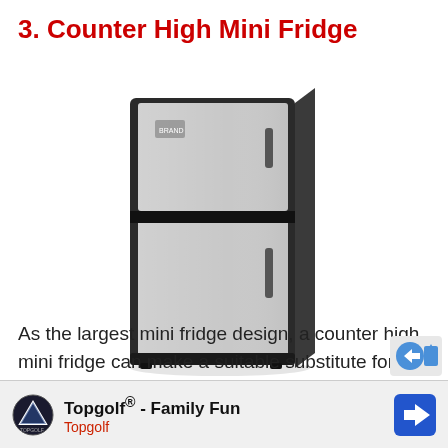3. Counter High Mini Fridge
[Figure (photo): A counter high mini fridge with two doors — a smaller freezer compartment on top and a larger refrigerator section below, with stainless steel front panels and black sides.]
As the largest mini fridge design, a counter high mini fridge can make a suitable substitute for a main fridge. These designs typically come with all the features you would expect in a standard refrigerator, including a crisper, interior light, a
Topgolf® - Family Fun  Topgolf